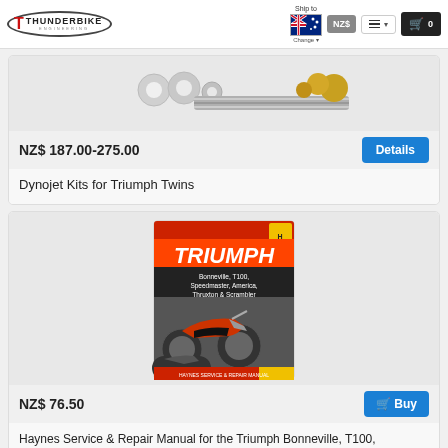Thunderbike Engineering — Ship to NZ$ — Menu — Cart 0
[Figure (photo): Partial product image showing dynojet kit components: threaded rod, washers, brass fittings on gray background]
NZ$ 187.00-275.00
Details
Dynojet Kits for Triumph Twins
[Figure (photo): Haynes Service & Repair Manual book cover for Triumph Bonneville, T100, Speedmaster, America & Thruxton 2001-2012 showing motorcycle on cover]
NZ$ 76.50
Buy
Haynes Service & Repair Manual for the Triumph Bonneville, T100, Speedmaster, America & Thruxton 2001-2012